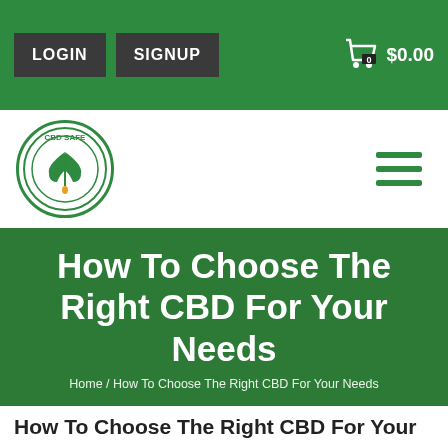LOGIN  SIGNUP  $0.00
[Figure (logo): CBD Safe circular logo with cannabis leaf and text 'CBD SAFE' around the border]
How To Choose The Right CBD For Your Needs
Home / How To Choose The Right CBD For Your Needs
How To Choose The Right CBD For Your